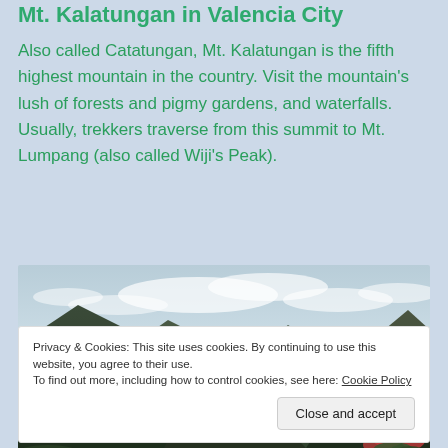Mt. Kalatungan in Valencia City
Also called Catatungan, Mt. Kalatungan is the fifth highest mountain in the country. Visit the mountain's lush of forests and pigmy gardens, and waterfalls. Usually, trekkers traverse from this summit to Mt. Lumpang (also called Wiji's Peak).
[Figure (photo): Panoramic photograph of Mt. Kalatungan showing dark green forested mountain peaks against a partly cloudy sky, with red flowering plants visible in the lower right foreground.]
Privacy & Cookies: This site uses cookies. By continuing to use this website, you agree to their use.
To find out more, including how to control cookies, see here: Cookie Policy
Close and accept